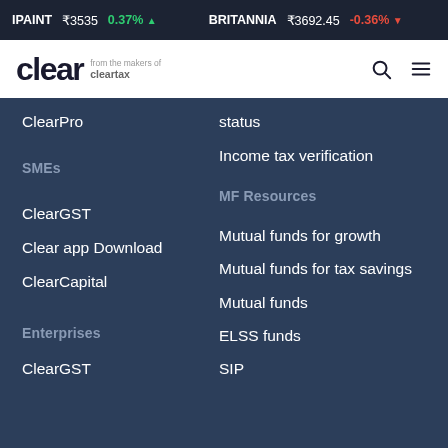IPAINT ₹3535 0.37% ▲   BRITANNIA ₹3692.45 -0.36% ▼
[Figure (logo): Clear logo with tagline 'from the makers of cleartax']
ClearPro
status
Income tax verification
SMEs
MF Resources
ClearGST
Clear app Download
ClearCapital
Mutual funds for growth
Mutual funds for tax savings
Mutual funds
ELSS funds
SIP
Enterprises
ClearGST